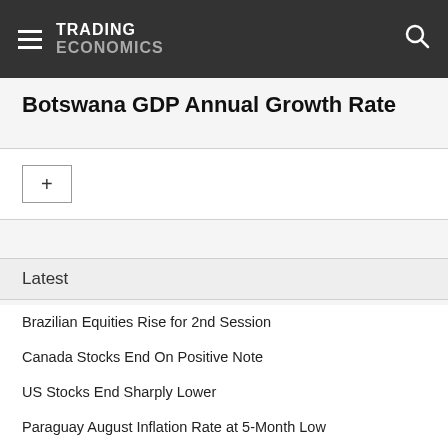TRADING ECONOMICS
Botswana GDP Annual Growth Rate
+
Latest
Brazilian Equities Rise for 2nd Session
Canada Stocks End On Positive Note
US Stocks End Sharply Lower
Paraguay August Inflation Rate at 5-Month Low
EU Natural Gas Prices Are Set to Surge on Monday
Colombia Exports Hit Record High in July
South African Stocks End on Strong Note
MOEX Surges 9% on the Week
Spanish Stocks Rebound From 12-Day Losing Streak